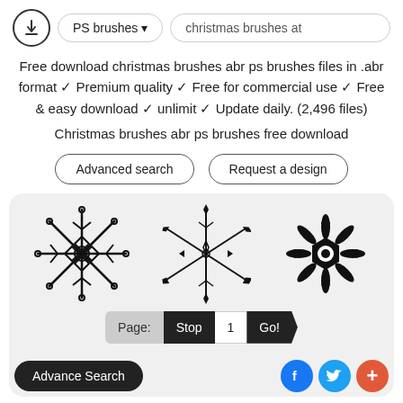PS brushes ▾  christmas brushes at
Free download christmas brushes abr ps brushes files in .abr format ✓ Premium quality ✓ Free for commercial use ✓ Free & easy download ✓ unlimit ✓ Update daily. (2,496 files)
Christmas brushes abr ps brushes free download
Advanced search   Request a design
[Figure (illustration): A gallery box showing three large decorative snowflake icons in black outline style on a light gray background, with a pagination bar showing 'Page: Stop 1 Go!' and social sharing buttons (Facebook, Twitter, plus), and an 'Advance Search' button at the bottom left. Two smaller snowflakes are partially visible at the bottom.]